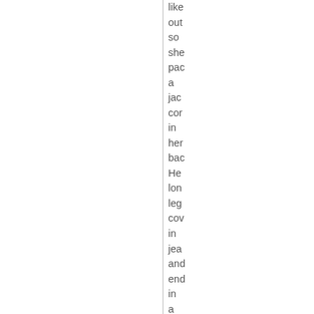like out so she pac a jac cor in her bac He lon leg cov in jea and end in a pai of fee we